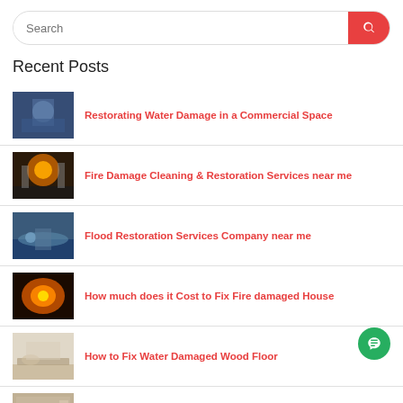Search
Recent Posts
Restorating Water Damage in a Commercial Space
Fire Damage Cleaning & Restoration Services near me
Flood Restoration Services Company near me
How much does it Cost to Fix Fire damaged House
How to Fix Water Damaged Wood Floor
What are the Symptoms of Mold and Mildew Exposure
Does Homeowners Insurance Cover Broken Pipes?